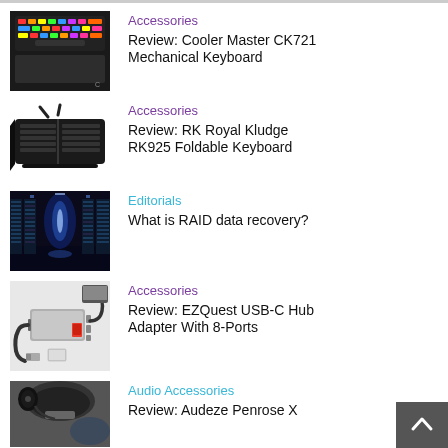Accessories
Review: Cooler Master CK721 Mechanical Keyboard
Accessories
Review: RK Royal Kludge RK925 Foldable Keyboard
Editorials
What is RAID data recovery?
Accessories
Review: EZQuest USB-C Hub Adapter With 8-Ports
Audio Accessories
Review: Audeze Penrose X